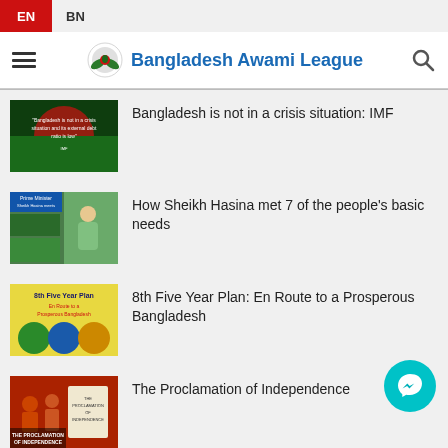EN  BN
[Figure (logo): Bangladesh Awami League navigation bar with hamburger menu, circular logo, site name in blue, and search icon]
[Figure (photo): Thumbnail for 'Bangladesh is not in a crisis situation: IMF' – Bangladesh flag background with text overlay]
Bangladesh is not in a crisis situation: IMF
[Figure (photo): Thumbnail for 'How Sheikh Hasina met 7 of the people's basic needs' – collage of people and Sheikh Hasina]
How Sheikh Hasina met 7 of the people's basic needs
[Figure (photo): Thumbnail for '8th Five Year Plan: En Route to a Prosperous Bangladesh' – yellow cover with circular images]
8th Five Year Plan: En Route to a Prosperous Bangladesh
[Figure (photo): Thumbnail for 'The Proclamation of Independence' – red background with people and document]
The Proclamation of Independence
[Figure (photo): Thumbnail for 'Digital Bangladesh's Transformation under Prime...' – partial view]
Digital Bangladesh's Transformation under Prime